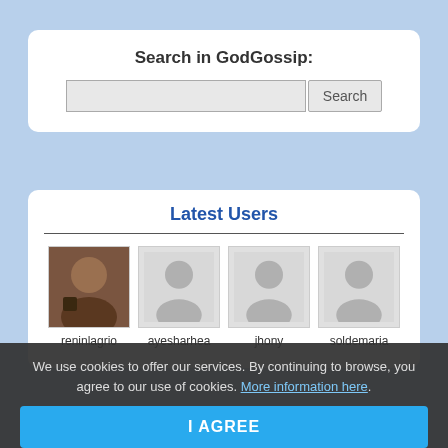Search in GodGossip:
[Figure (screenshot): Search input box with Search button]
Latest Users
[Figure (screenshot): Four user avatars: reninlagrio (photo), ayesharhea (silhouette), jhony (silhouette), soldemaria (silhouette)]
We use cookies to offer our services. By continuing to browse, you agree to our use of cookies. More information here.
I AGREE